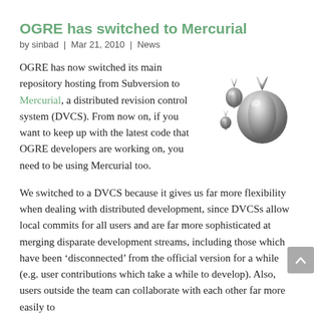OGRE has switched to Mercurial
by sinbad | Mar 21, 2010 | News
[Figure (illustration): Mercurial logo: a metallic droplet/mercury figure on white background]
OGRE has now switched its main repository hosting from Subversion to Mercurial, a distributed revision control system (DVCS). From now on, if you want to keep up with the latest code that OGRE developers are working on, you need to be using Mercurial too.
We switched to a DVCS because it gives us far more flexibility when dealing with distributed development, since DVCSs allow local commits for all users and are far more sophisticated at merging disparate development streams, including those which have been ‘disconnected’ from the official version for a while (e.g. user contributions which take a while to develop). Also, users outside the team can collaborate with each other far more easily to